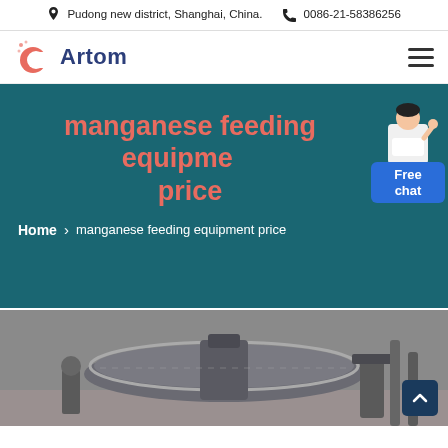Pudong new district, Shanghai, China.  0086-21-58386256
[Figure (logo): Artom company logo with orange circular C icon and dark blue Artom text]
manganese feeding equipment price
Home > manganese feeding equipment price
[Figure (photo): Industrial manganese feeding equipment machinery, metallic circular feeder machine]